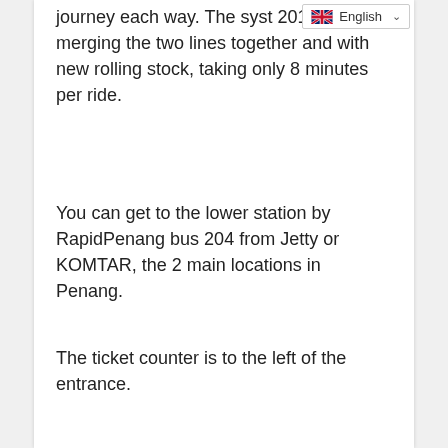journey each way. The syst 2010 with merging the two lines together and with new rolling stock, taking only 8 minutes per ride.
You can get to the lower station by RapidPenang bus 204 from Jetty or KOMTAR, the 2 main locations in Penang.
The ticket counter is to the left of the entrance.